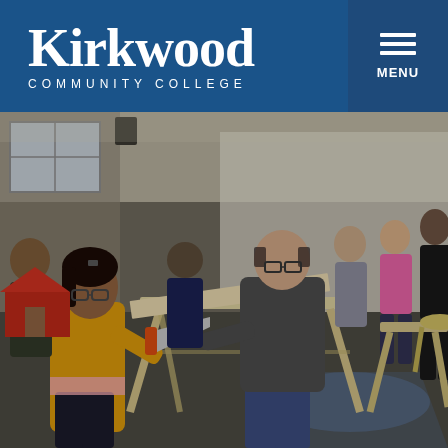[Figure (logo): Kirkwood Community College logo - white text on dark blue background]
[Figure (photo): Students and instructor working in a woodworking/carpentry workshop. A young woman in a yellow shirt uses a hand saw on wood clamped to a sawhorse. An instructor in grey sweater assists. Several other students visible in background in a large industrial workshop space with white curtain backdrop.]